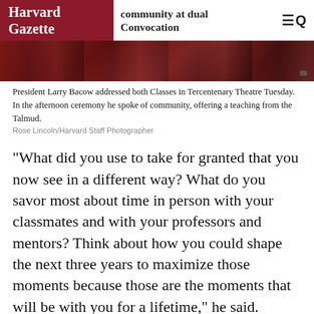Harvard Gazette | community at dual Convocation
[Figure (photo): Partial photo of President Larry Bacow at Tercentenary Theatre, showing robed figures with red accents]
President Larry Bacow addressed both Classes in Tercentenary Theatre Tuesday. In the afternoon ceremony he spoke of community, offering a teaching from the Talmud.
Rose Lincoln/Harvard Staff Photographer
“What did you use to take for granted that you now see in a different way? What do you savor most about time in person with your classmates and with your professors and mentors? Think about how you could shape the next three years to maximize those moments because those are the moments that will be with you for a lifetime,” he said.
The ceremony welcoming first-year students to Harvard was the first in-person Convocation since 2019. It was the second such event for the Class of